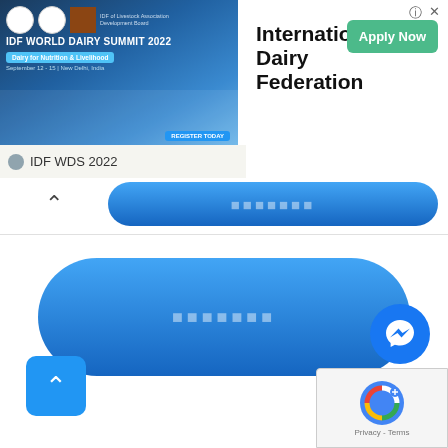[Figure (screenshot): Advertisement banner for IDF World Dairy Summit 2022 showing logo image on left and International Dairy Federation text with Apply Now button on right]
International Dairy Federation
IDF WDS 2022
[Figure (screenshot): Blue navigation bar with collapsed chevron on left and blue pill-shaped bar with placeholder text]
[Figure (screenshot): Large blue pill-shaped button with placeholder/unreadable text in center]
[Figure (screenshot): Messenger chat bubble icon circle button]
[Figure (screenshot): Back to top blue square button with up chevron]
[Figure (screenshot): reCAPTCHA widget with logo and Privacy - Terms text]